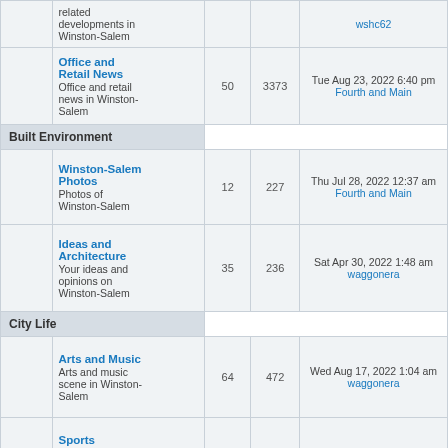|  | Forum | Topics | Posts | Last Post |
| --- | --- | --- | --- | --- |
|  | related developments in Winston-Salem |  |  | wshc62 |
|  | Office and Retail News
Office and retail news in Winston-Salem | 50 | 3373 | Tue Aug 23, 2022 6:40 pm
Fourth and Main |
| Built Environment |  |  |  |  |
|  | Winston-Salem Photos
Photos of Winston-Salem | 12 | 227 | Thu Jul 28, 2022 12:37 am
Fourth and Main |
|  | Ideas and Architecture
Your ideas and opinions on Winston-Salem | 35 | 236 | Sat Apr 30, 2022 1:48 am
waggonera |
| City Life |  |  |  |  |
|  | Arts and Music
Arts and music scene in Winston-Salem | 64 | 472 | Wed Aug 17, 2022 1:04 am
waggonera |
|  | Sports
Sports and sports teams in Winston-Salem | 26 | 310 | Mon Jul 04, 2022 1:29 pm
WSBornNBred |